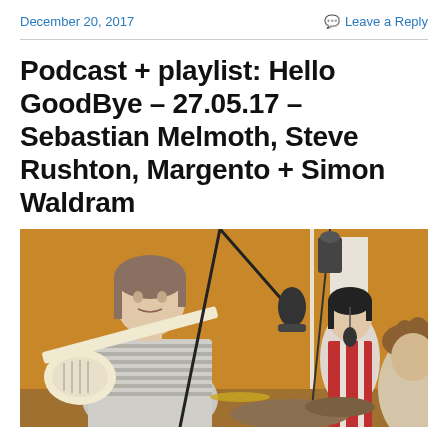December 20, 2017   Leave a Reply
Podcast + playlist: Hello GoodBye – 27.05.17 – Sebastian Melmoth, Steve Rushton, Margento + Simon Waldram
[Figure (photo): Three musicians in a recording studio with a warm amber/orange wall. On the left, a woman with straight hair wearing a striped shirt plays bass guitar near a microphone on a boom stand. In the center-right background, a woman with short dark hair is near a microphone. On the far right, a man with curly hair is partially visible. Various microphone stands and recording equipment are visible.]